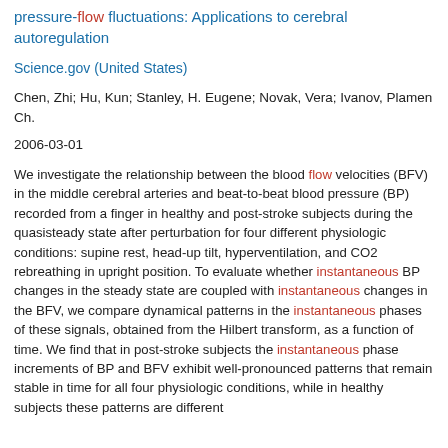pressure-flow fluctuations: Applications to cerebral autoregulation
Science.gov (United States)
Chen, Zhi; Hu, Kun; Stanley, H. Eugene; Novak, Vera; Ivanov, Plamen Ch.
2006-03-01
We investigate the relationship between the blood flow velocities (BFV) in the middle cerebral arteries and beat-to-beat blood pressure (BP) recorded from a finger in healthy and post-stroke subjects during the quasisteady state after perturbation for four different physiologic conditions: supine rest, head-up tilt, hyperventilation, and CO2 rebreathing in upright position. To evaluate whether instantaneous BP changes in the steady state are coupled with instantaneous changes in the BFV, we compare dynamical patterns in the instantaneous phases of these signals, obtained from the Hilbert transform, as a function of time. We find that in post-stroke subjects the instantaneous phase increments of BP and BFV exhibit well-pronounced patterns that remain stable in time for all four physiologic conditions, while in healthy subjects these patterns are different